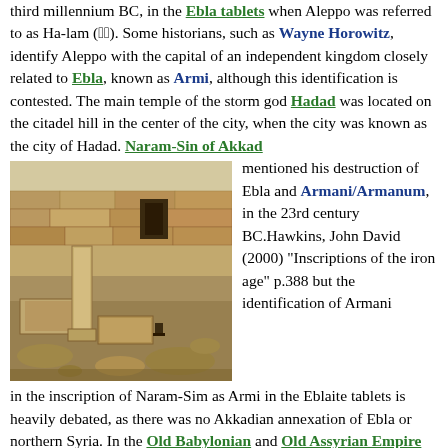third millennium BC, in the Ebla tablets when Aleppo was referred to as Ha-lam (𒄩𒆳). Some historians, such as Wayne Horowitz, identify Aleppo with the capital of an independent kingdom closely related to Ebla, known as Armi, although this identification is contested. The main temple of the storm god Hadad was located on the citadel hill in the center of the city, when the city was known as the city of Hadad. Naram-Sin of Akkad mentioned his destruction of Ebla and Armani/Armanum, in the 23rd century BC.Hawkins, John David (2000) "Inscriptions of the iron age" p.388 but the identification of Armani in the inscription of Naram-Sim as Armi in the Eblaite tablets is heavily debated, as there was no Akkadian annexation of Ebla or northern Syria. In the Old Babylonian and Old Assyrian Empire period, Aleppo's name appears in its original form as Ḥalab (Ḥalba) for the first time. Aleppo was the capital of the important Amorite dynasty of Yamḥad. The kingdom of Yamḥad (c. 1800–1525 BC), alternatively known as the head of Halab, was one of the most powerful states in the...
[Figure (photo): Archaeological ruins showing ancient stone structures, columns and large stone blocks in what appears to be an excavation site in Aleppo or nearby region.]